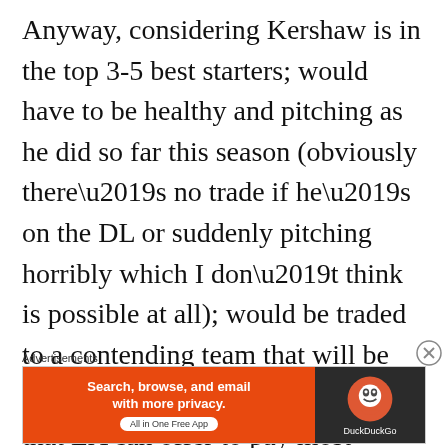Anyway, considering Kershaw is in the top 3-5 best starters; would have to be healthy and pitching as he did so far this season (obviously there’s no trade if he’s on the DL or suddenly pitching horribly which I don’t think is possible at all); would be traded to a contending team that will be competing with others for him; and that LA can offer to pay most
[Figure (other): DuckDuckGo advertisement banner: orange left panel with text 'Search, browse, and email with more privacy. All in One Free App' and dark right panel with DuckDuckGo logo and name.]